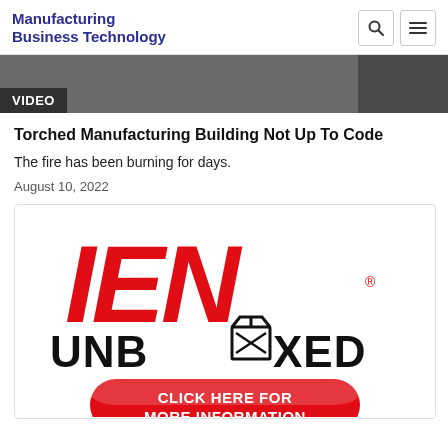Manufacturing Business Technology
[Figure (screenshot): VIDEO banner over a dark image thumbnail]
Torched Manufacturing Building Not Up To Code
The fire has been burning for days.
August 10, 2022
[Figure (logo): IEN UNBOXED advertisement with red IEN logo, box icon, and red button reading CLICK HERE FOR MORE INFORMATION]